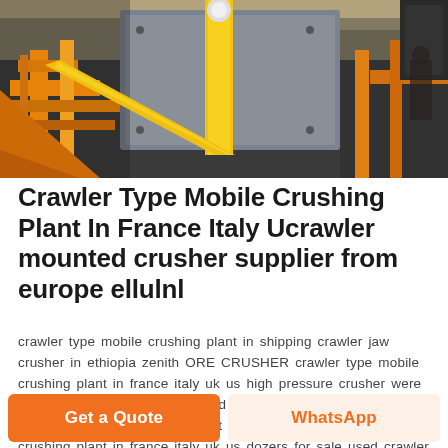[Figure (photo): Industrial crawler type mobile crushing plant machinery in a factory, featuring orange and yellow metal frames with a large grey crushing unit]
Crawler Type Mobile Crushing Plant In France Italy Ucrawler mounted crusher supplier from europe ellulnl
crawler type mobile crushing plant in shipping crawler jaw crusher in ethiopia zenith ORE CRUSHER crawler type mobile crushing plant in france italy uk us high pressure crusher were now on a ship being transported to eastern Canada suppliers of crawler mobile crushing plant in germany crawler type mobile crushing plant in france italy uk us dozers for sale used crawler in europe Get Price development of mobile impact
Get a Quote
WhatsApp